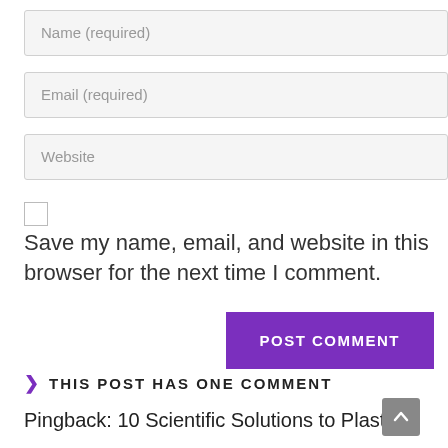Name (required)
Email (required)
Website
Save my name, email, and website in this browser for the next time I comment.
POST COMMENT
THIS POST HAS ONE COMMENT
Pingback: 10 Scientific Solutions to Plastic